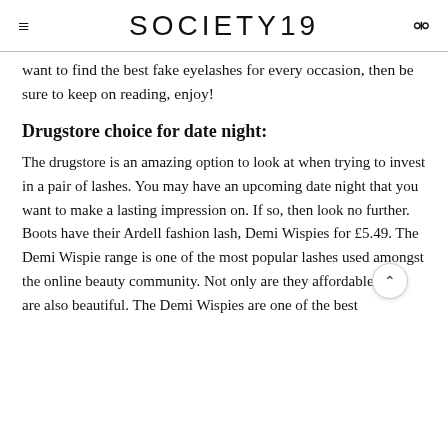SOCIETY19
want to find the best fake eyelashes for every occasion, then be sure to keep on reading, enjoy!
Drugstore choice for date night:
The drugstore is an amazing option to look at when trying to invest in a pair of lashes. You may have an upcoming date night that you want to make a lasting impression on. If so, then look no further. Boots have their Ardell fashion lash, Demi Wispies for £5.49. The Demi Wispie range is one of the most popular lashes used amongst the online beauty community. Not only are they affordable, they are also beautiful. The Demi Wispies are one of the best